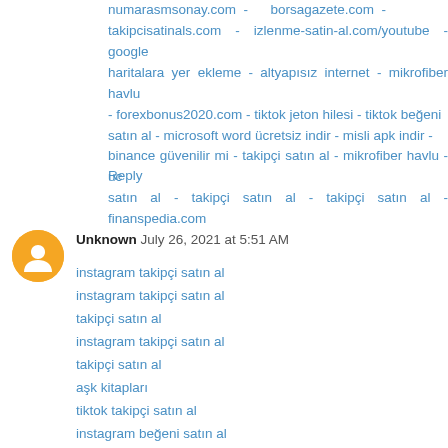numarasmsonay.com - borsagazete.com - takipcisatinals.com - izlenme-satin-al.com/youtube - google haritalara yer ekleme - altyapısız internet - mikrofiber havlu - forexbonus2020.com - tiktok jeton hilesi - tiktok beğeni satın al - microsoft word ücretsiz indir - misli apk indir - binance güvenilir mi - takipçi satın al - mikrofiber havlu - uc satın al - takipçi satın al - takipçi satın al - finanspedia.com
Reply
Unknown  July 26, 2021 at 5:51 AM
instagram takipçi satın al
instagram takipçi satın al
takipçi satın al
instagram takipçi satın al
takipçi satın al
aşk kitapları
tiktok takipçi satın al
instagram beğeni satın al
youtube abone satın al
twitter takipçi satın al